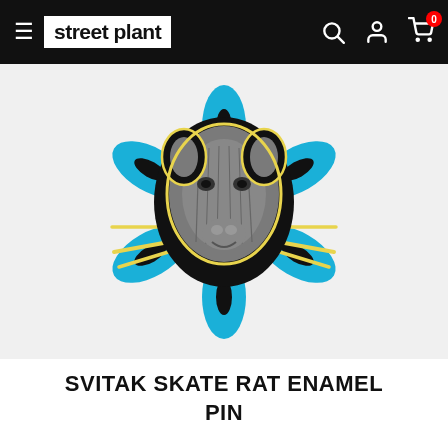street plant
[Figure (photo): Enamel pin product photo: a rat head with detailed line-art style illustration, surrounded by blue snowflake shapes and yellow lightning bolt whiskers, on a black background.]
SVITAK SKATE RAT ENAMEL PIN